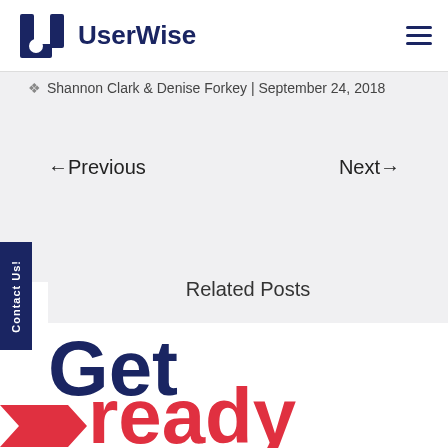UserWise
Shannon Clark & Denise Forkey | September 24, 2018
←Previous   Next→
Contact Us!
Related Posts
[Figure (illustration): Large bold text reading 'Get ready for' with navy blue and red coloring, and red arrow chevron graphic before 'ready']